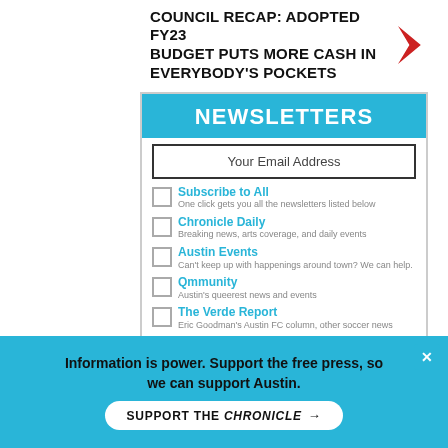COUNCIL RECAP: ADOPTED FY23 BUDGET PUTS MORE CASH IN EVERYBODY'S POCKETS
[Figure (infographic): Newsletter signup box with blue header reading NEWSLETTERS, email input field, six newsletter options with checkboxes (Subscribe to All, Chronicle Daily, Austin Events, Qmmunity, The Verde Report, Chronfidential), and a red SUBSCRIBE button]
[Figure (infographic): Advertisement banner with purple background reading ALL SCHOLARS. with a photo of a person]
Information is power. Support the free press, so we can support Austin.
SUPPORT THE CHRONICLE →